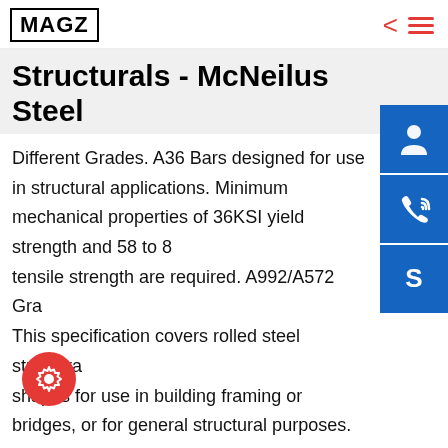MAGZ
Structurals - McNeilus Steel
Different Grades. A36 Bars designed for use in structural applications. Minimum mechanical properties of 36KSI yield strength and 58 to 80 tensile strength are required. A992/A572 Grade This specification covers rolled steel structural shapes for use in building framing or bridges, or for general structural purposes. Minimum mechanical properties of 50 to 65 KSI yield strength Pipe & Steel Products - Richards Pipe & Steel - Pacific, WAASTM A, ASTM A572 Grade 50 or ASTM A992. Carbon Steel Tube. Manufactured in the USA and offshore.